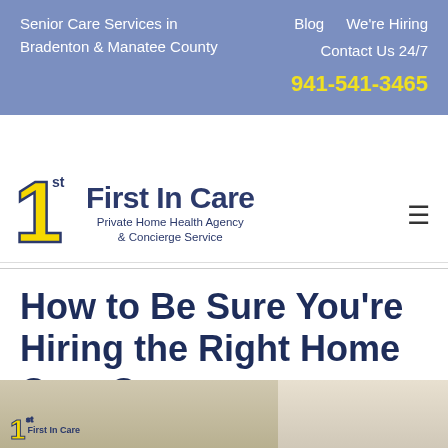Senior Care Services in Bradenton & Manatee County | Blog  We're Hiring  Contact Us 24/7  941-541-3465
[Figure (logo): 1st First In Care logo — large yellow '1' with dark blue outline, 'st' superscript, 'First In Care' bold dark blue text, subtitle 'Private Home Health Agency & Concierge Service']
How to Be Sure You're Hiring the Right Home Care Company
[Figure (photo): Partial photo strip showing First In Care logo on left portion and a second lighter image on the right portion, cropped at bottom of page]